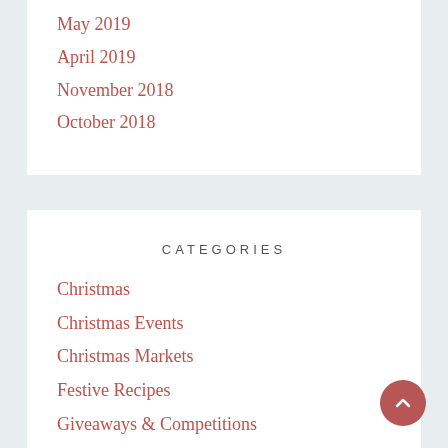May 2019
April 2019
November 2018
October 2018
CATEGORIES
Christmas
Christmas Events
Christmas Markets
Festive Recipes
Giveaways & Competitions